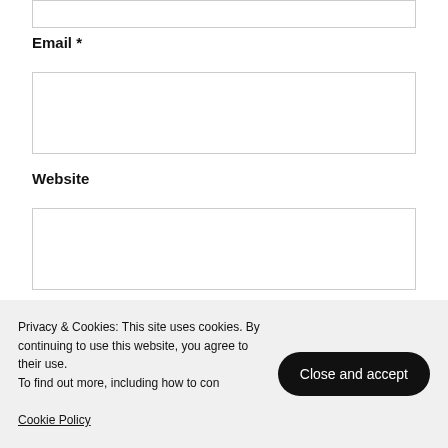Email *
[Figure (other): Empty text input field for Email]
Website
[Figure (other): Empty text input field for Website]
Save my name, email, and website in this browser for the next time I comment.
Post Comment
Privacy & Cookies: This site uses cookies. By continuing to use this website, you agree to their use.
To find out more, including how to control cookies, see here:
Cookie Policy
Close and accept